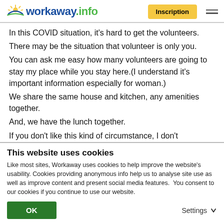workaway.info | Inscription
In this COVID situation, it's hard to get the volunteers. There may be the situation that volunteer is only you. You can ask me easy how many volunteers are going to stay my place while you stay here.(I understand it's important information especially for woman.) We share the same house and kitchen, any amenities together. And, we have the lunch together. If you don't like this kind of circumstance, I don't recommend you to stay here.
This website uses cookies
Like most sites, Workaway uses cookies to help improve the website's usability. Cookies providing anonymous info help us to analyse site use as well as improve content and present social media features.  You consent to our cookies if you continue to use our website.
OK | Settings